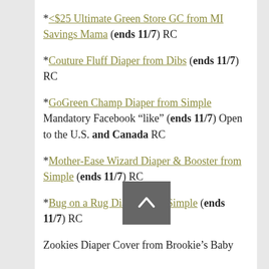*$25 Ultimate Green Store GC from MI Savings Mama (ends 11/7) RC
*Couture Fluff Diaper from Dibs (ends 11/7) RC
*GoGreen Champ Diaper from Simple Mandatory Facebook “like” (ends 11/7) Open to the U.S. and Canada RC
*Mother-Ease Wizard Diaper & Booster from Simple (ends 11/7) RC
*Bug on a Rug Diaper from Simple (ends 11/7) RC
Zookies Diaper Cover from Brookie’s Baby